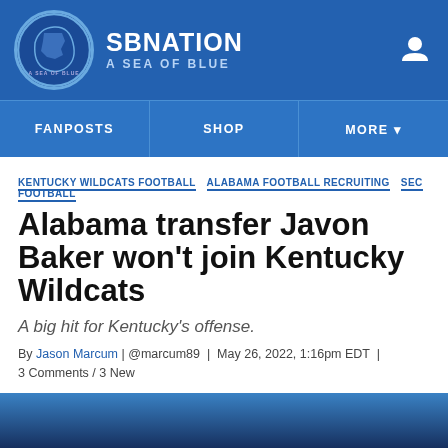SBNation — A Sea of Blue
FANPOSTS | SHOP | MORE
KENTUCKY WILDCATS FOOTBALL  ALABAMA FOOTBALL RECRUITING  SEC FOOTBALL
Alabama transfer Javon Baker won't join Kentucky Wildcats
A big hit for Kentucky's offense.
By Jason Marcum | @marcum89 | May 26, 2022, 1:16pm EDT | 3 Comments / 3 New
[Figure (other): Social share buttons: Facebook, Twitter, Share]